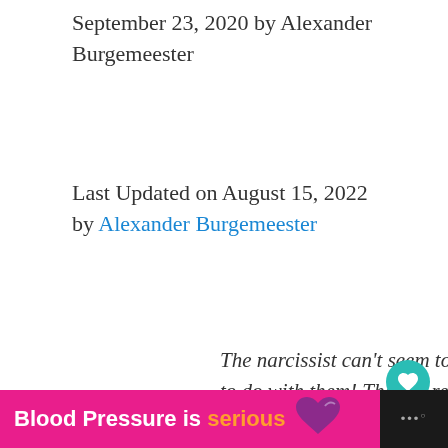September 23, 2020 by Alexander Burgemeester
Last Updated on August 15, 2022 by Alexander Burgemeester
The narcissist can’t seem to get the hint that I don’t want anything to do with them! They’ve reached everyone- my friends, my
[Figure (other): Pink advertisement banner: Blood Pressure is serious with heart icon and W logo]
[Figure (other): Teal circular heart/favorite button and white circular share button on right side]
[Figure (other): What's Next widget showing thumbnail and text: How to Make a Narcissist...]